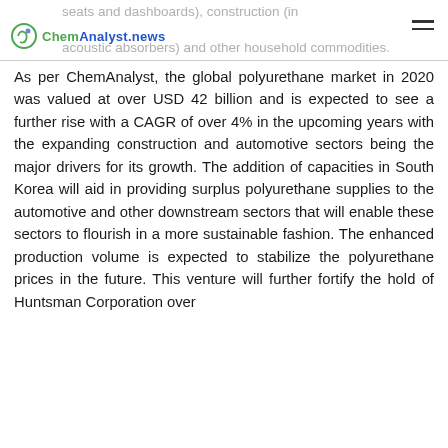seats and dashboards), construction (in acoustic absorbers) and other household commodities. | ChemAnalyst.News logo | hamburger menu
As per ChemAnalyst, the global polyurethane market in 2020 was valued at over USD 42 billion and is expected to see a further rise with a CAGR of over 4% in the upcoming years with the expanding construction and automotive sectors being the major drivers for its growth. The addition of capacities in South Korea will aid in providing surplus polyurethane supplies to the automotive and other downstream sectors that will enable these sectors to flourish in a more sustainable fashion. The enhanced production volume is expected to stabilize the polyurethane prices in the future. This venture will further fortify the hold of Huntsman Corporation over